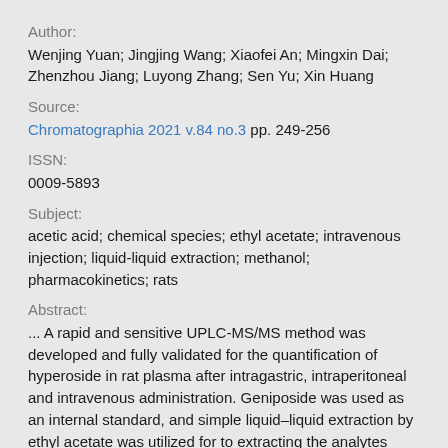Author:
Wenjing Yuan; Jingjing Wang; Xiaofei An; Mingxin Dai; Zhenzhou Jiang; Luyong Zhang; Sen Yu; Xin Huang
Source:
Chromatographia 2021 v.84 no.3 pp. 249-256
ISSN:
0009-5893
Subject:
acetic acid; chemical species; ethyl acetate; intravenous injection; liquid-liquid extraction; methanol; pharmacokinetics; rats
Abstract:
... A rapid and sensitive UPLC-MS/MS method was developed and fully validated for the quantification of hyperoside in rat plasma after intragastric, intraperitoneal and intravenous administration. Geniposide was used as an internal standard, and simple liquid–liquid extraction by ethyl acetate was utilized for to extracting the analytes from the rat plasma samples. Chromatographic separation was carri